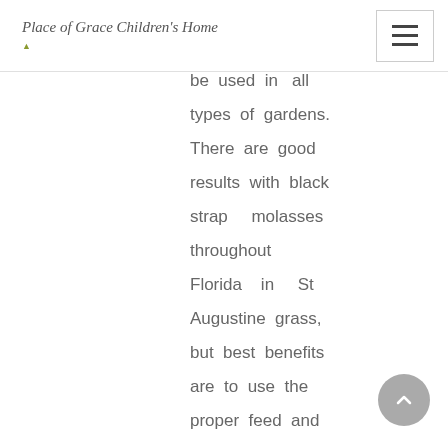Place of Grace Children's Home
be used in all types of gardens. There are good results with black strap molasses throughout Florida in St Augustine grass, but best benefits are to use the proper feed and weed fertilizer for your grass and area. And this is